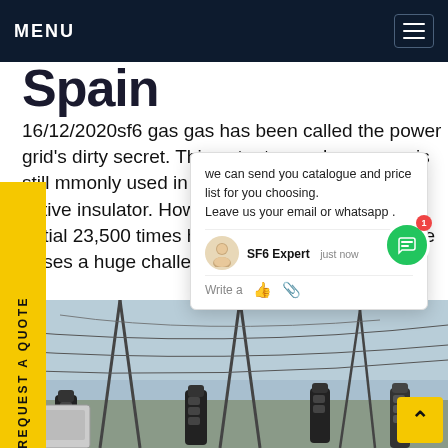MENU
Spain
16/12/2020sf6 gas gas has been called the power grid's dirty secret. This potent greenhouse gas is still mmonly used in switchgear because an ective insulator. However, with a global warming ential 23,500 times higher than CO₂, sulfur hexafluoride poses a huge challenge for the future.Get price
[Figure (screenshot): Chat popup overlay with message: we can send you catalogue and price list for you choosing. Leave us your email or whatsapp. SF6 Expert - just now. Write a message area.]
[Figure (photo): Power substation with high-voltage equipment, insulators, and overhead transmission lines against a sky background.]